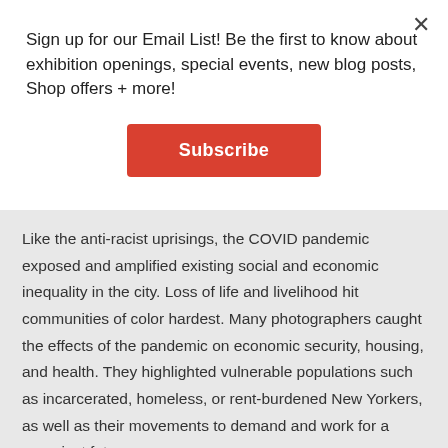Sign up for our Email List! Be the first to know about exhibition openings, special events, new blog posts, Shop offers + more!
Subscribe
Like the anti-racist uprisings, the COVID pandemic exposed and amplified existing social and economic inequality in the city. Loss of life and livelihood hit communities of color hardest. Many photographers caught the effects of the pandemic on economic security, housing, and health. They highlighted vulnerable populations such as incarcerated, homeless, or rent-burdened New Yorkers, as well as their movements to demand and work for a more just future.